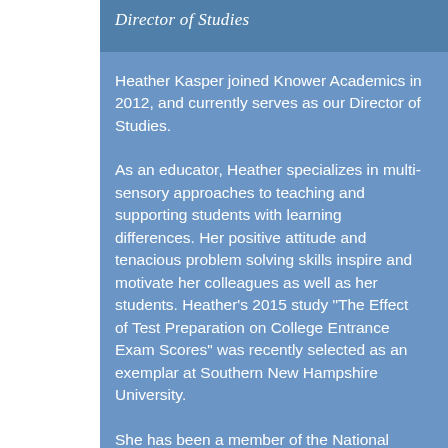Director of Studies
Heather Kasper joined Knower Academics in 2012, and currently serves as our Director of Studies.
As an educator, Heather specializes in multi-sensory approaches to teaching and supporting students with learning differences. Her positive attitude and tenacious problem solving skills inspire and motivate her colleagues as well as her students. Heather’s 2015 study “The Effect of Test Preparation on College Entrance Exam Scores” was recently selected as an exemplar at Southern New Hampshire University.
She has been a member of the National